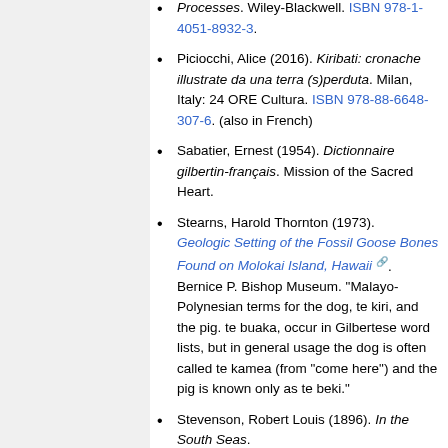Piciocchi, Alice (2016). Kiribati: cronache illustrate da una terra (s)perduta. Milan, Italy: 24 ORE Cultura. ISBN 978-88-6648-307-6. (also in French)
Sabatier, Ernest (1954). Dictionnaire gilbertin-français. Mission of the Sacred Heart.
Stearns, Harold Thornton (1973). Geologic Setting of the Fossil Goose Bones Found on Molokai Island, Hawaii. Bernice P. Bishop Museum. "Malayo-Polynesian terms for the dog, te kiri, and the pig. te buaka, occur in Gilbertese word lists, but in general usage the dog is often called te kamea (from "come here") and the pig is known only as te beki."
Stevenson, Robert Louis (1896). In the South Seas.
Thomas, Frank R. (2003). "Kiribati: 'Some